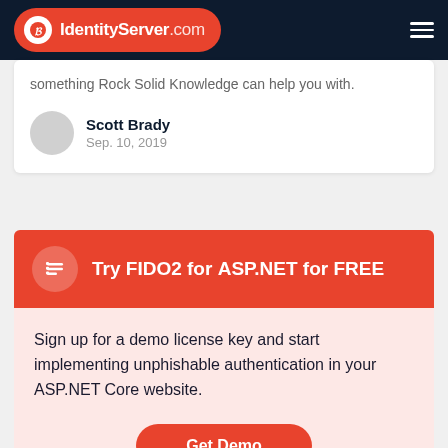IdentityServer.com
something Rock Solid Knowledge can help you with.
Scott Brady
Sep. 10, 2019
Try FIDO2 for ASP.NET for FREE
Sign up for a demo license key and start implementing unphishable authentication in your ASP.NET Core website.
Get Demo